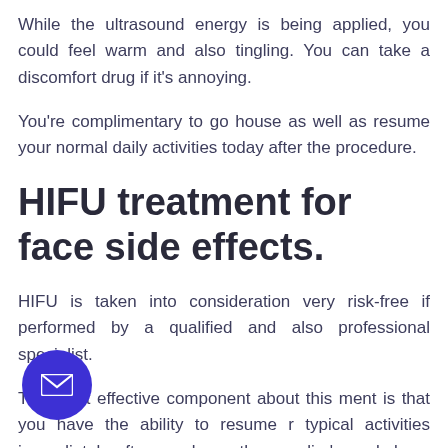While the ultrasound energy is being applied, you could feel warm and also tingling. You can take a discomfort drug if it's annoying.
You're complimentary to go house as well as resume your normal daily activities today after the procedure.
HIFU treatment for face side effects.
HIFU is taken into consideration very risk-free if performed by a qualified and also professional specialist.
The most effective component about this treatment is that you have the ability to resume your typical activities immediately after you leave the supplier's workplace. Some mild soreness or